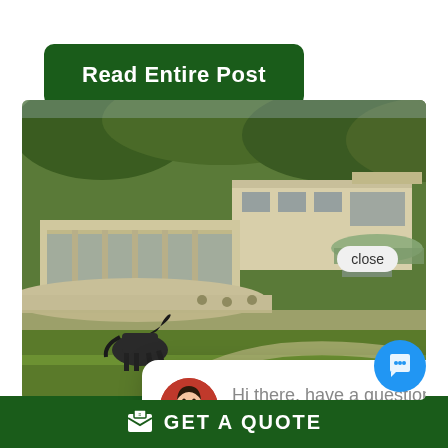Read Entire Post
[Figure (screenshot): Screenshot of a real estate website showing a luxury estate with a modern cream/beige multi-story home, green lawn, dark horse sculpture, and trees in the background. Overlaid is a chat popup with an agent avatar saying 'Hi there, have a question? Text us here.' and a close button.]
Hi there, have a question? Text us here.
GET A QUOTE